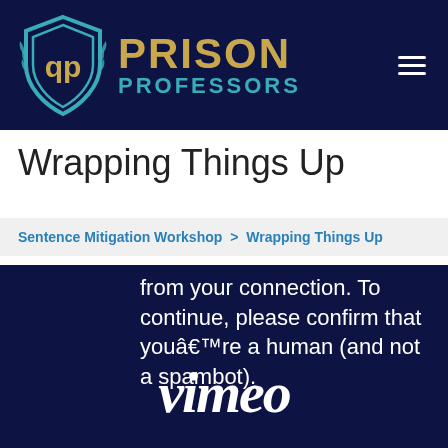[Figure (logo): Prison Professors logo with shield icon and text on dark navy background]
Wrapping Things Up
Sentence Mitigation Workshop > Wrapping Things Up
[Figure (screenshot): Dark navy panel with Vimeo bot-check message: 'from your connection. To continue, please confirm that youâ€™re a human (and not a spambot).' and the Vimeo logo in white italic script]